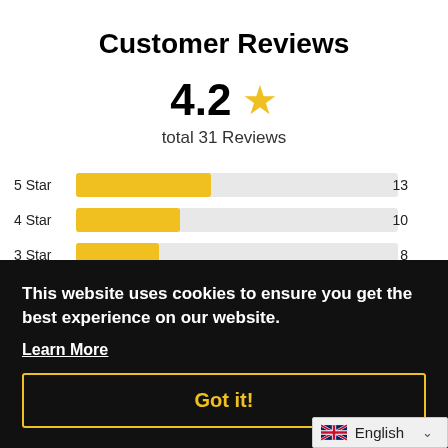Customer Reviews
4.2 ★
total 31 Reviews
[Figure (bar-chart): Star Rating Distribution]
This website uses cookies to ensure you get the best experience on our website.
Learn More
Got it!
English